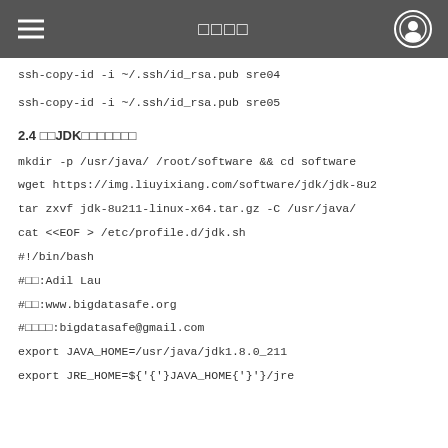□□□□
ssh-copy-id -i ~/.ssh/id_rsa.pub sre04
ssh-copy-id -i ~/.ssh/id_rsa.pub sre05
2.4 □□JDK□□□□□□□
mkdir -p /usr/java/ /root/software && cd software
wget https://img.liuyixiang.com/software/jdk/jdk-8u2
tar zxvf jdk-8u211-linux-x64.tar.gz -C /usr/java/
cat <<EOF > /etc/profile.d/jdk.sh
#!/bin/bash
#□□:Adil Lau
#□□:www.bigdatasafe.org
#□□□□:bigdatasafe@gmail.com
export JAVA_HOME=/usr/java/jdk1.8.0_211
export JRE_HOME=${JAVA_HOME}/jre